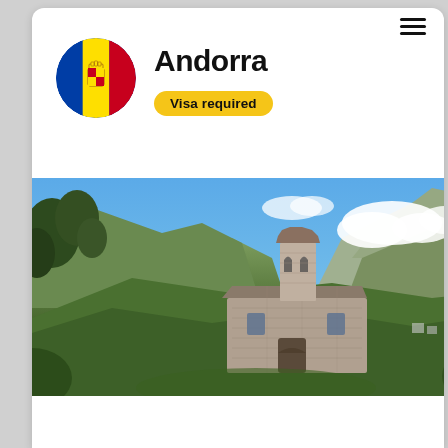Andorra
Visa required
[Figure (photo): Scenic photo of Andorra showing a historic stone church with a small bell tower set against a backdrop of green mountain slopes and a blue sky with white clouds.]